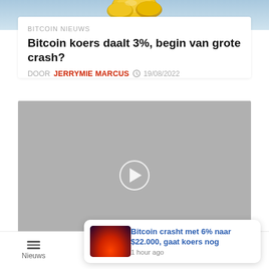[Figure (photo): Gold bitcoin coins image at the top of the page]
BITCOIN NIEUWS
Bitcoin koers daalt 3%, begin van grote crash?
DOOR JERRYMIE MARCUS  19/08/2022
[Figure (screenshot): Video player placeholder with play button on gray background]
[Figure (photo): Notification popup: Bitcoin crasht met 6% naar $22.000, gaat koers nog — 1 hour ago, with a fire/bitcoin image thumbnail]
Nieuws  Columns  Community  Kopen